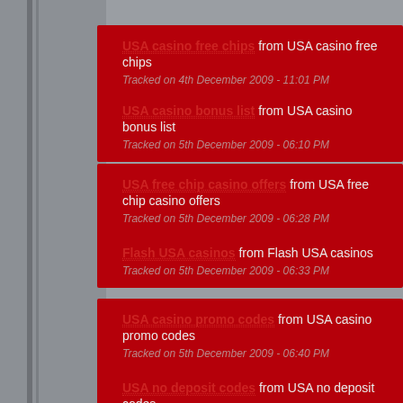USA casino free chips from USA casino free chips
Tracked on 4th December 2009 - 11:01 PM
USA casino bonus list from USA casino bonus list
Tracked on 5th December 2009 - 06:10 PM
USA free chip casino offers from USA free chip casino offers
Tracked on 5th December 2009 - 06:28 PM
Flash USA casinos from Flash USA casinos
Tracked on 5th December 2009 - 06:33 PM
USA casino promo codes from USA casino promo codes
Tracked on 5th December 2009 - 06:40 PM
USA no deposit codes from USA no deposit codes
Tracked on 5th December 2009 - 06:57 PM